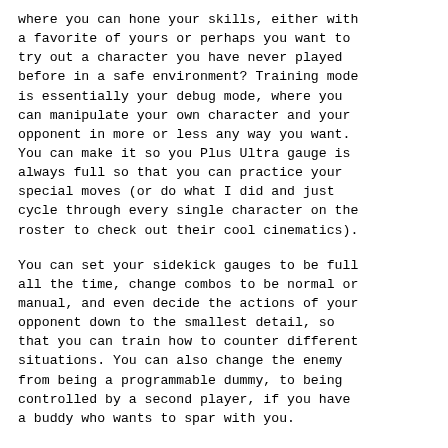where you can hone your skills, either with a favorite of yours or perhaps you want to try out a character you have never played before in a safe environment? Training mode is essentially your debug mode, where you can manipulate your own character and your opponent in more or less any way you want. You can make it so you Plus Ultra gauge is always full so that you can practice your special moves (or do what I did and just cycle through every single character on the roster to check out their cool cinematics).
You can set your sidekick gauges to be full all the time, change combos to be normal or manual, and even decide the actions of your opponent down to the smallest detail, so that you can train how to counter different situations. You can also change the enemy from being a programmable dummy, to being controlled by a second player, if you have a buddy who wants to spar with you.